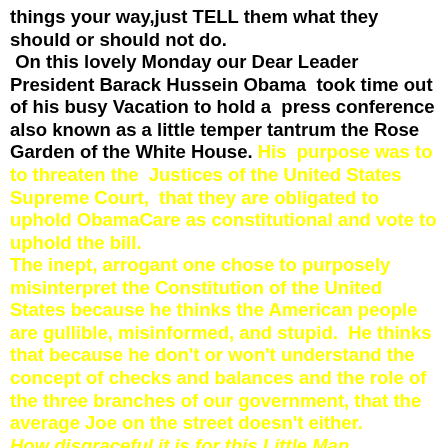things your way,just TELL them what they should or should not do. On this lovely Monday our Dear Leader President Barack Hussein Obama took time out of his busy Vacation to hold a press conference also known as a little temper tantrum the Rose Garden of the White House. His purpose was to to threaten the Justices of the United States Supreme Court, that they are obligated to uphold ObamaCare as constitutional and vote to uphold the bill. The inept, arrogant one chose to purposely misinterpret the Constitution of the United States because he thinks the American people are gullible, misinformed, and stupid. He thinks that because he don't or won't understand the concept of checks and balances and the role of the three branches of our government, that the average Joe on the street doesn't either. How disgraceful it is for this Little Man...